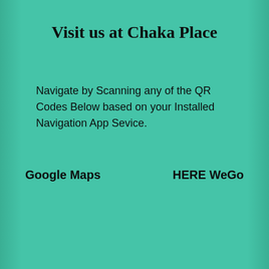Visit us at Chaka Place
Navigate by Scanning any of the QR Codes Below based on your Installed Navigation App Sevice.
Google Maps
HERE WeGo